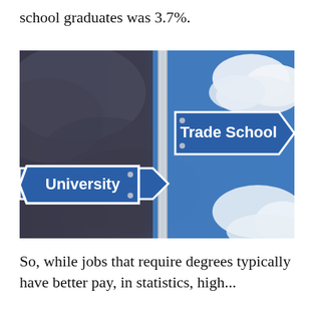school graduates was 3.7%.
[Figure (photo): Street sign photo showing two directional signs on a pole against a sky background: one blue arrow sign pointing right labeled 'Trade School' and one blue arrow sign pointing left labeled 'University'. The left half of the sky is dark and stormy, the right half is bright blue with white clouds.]
So, while jobs that require degrees typically have better pay, in statistics, high...